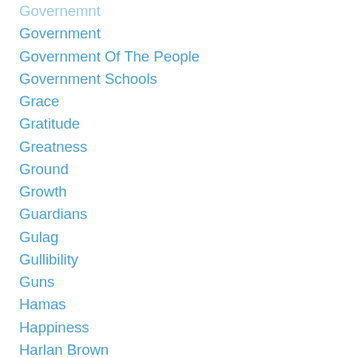Governemnt
Government
Government Of The People
Government Schools
Grace
Gratitude
Greatness
Ground
Growth
Guardians
Gulag
Gullibility
Guns
Hamas
Happiness
Harlan Brown
Heart
Hearts
Heaven
Heavens
Heritage